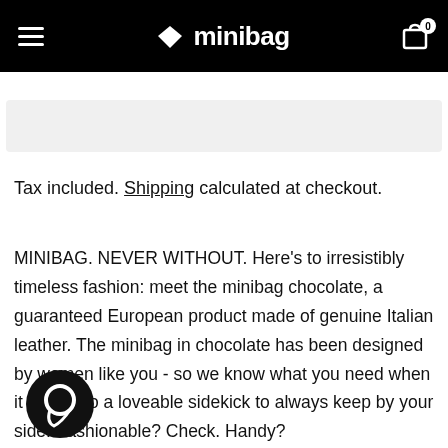minibag – navigation bar with hamburger menu and cart (0 items)
Tax included. Shipping calculated at checkout.
MINIBAG. NEVER WITHOUT. Here's to irresistibly timeless fashion: meet the minibag chocolate, a guaranteed European product made of genuine Italian leather. The minibag in chocolate has been designed by women like you - so we know what you need when it comes to a loveable sidekick to always keep by your side. Fashionable? Check. Handy? Check. Adaptive? Check! You do all kinds of things